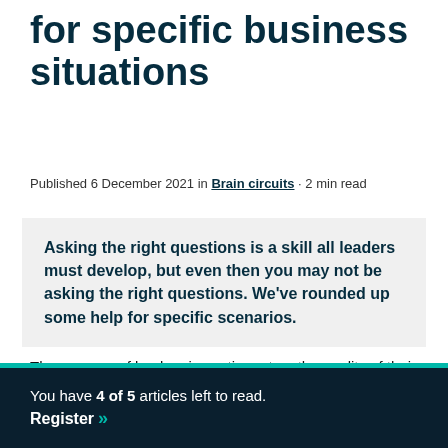for specific business situations
Published 6 December 2021 in Brain circuits · 2 min read
Asking the right questions is a skill all leaders must develop, but even then you may not be asking the right questions. We've rounded up some help for specific scenarios.
The success of leaders is contingent on the quality of their decision-making. To make the best decisions, it is
You have 4 of 5 articles left to read. Register